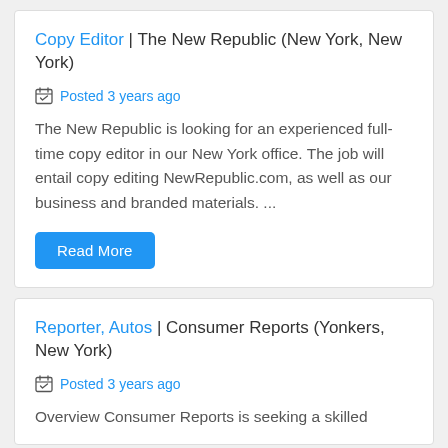Copy Editor | The New Republic (New York, New York)
Posted 3 years ago
The New Republic is looking for an experienced full-time copy editor in our New York office. The job will entail copy editing NewRepublic.com, as well as our business and branded materials. ...
Read More
Reporter, Autos | Consumer Reports (Yonkers, New York)
Posted 3 years ago
Overview Consumer Reports is seeking a skilled